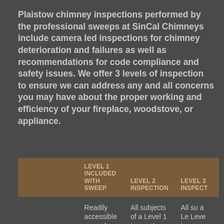Plaistow chimney inspections performed by the professional sweeps at SinCal Chimneys include camera led inspections for chimney deterioration and failures as well as recommendations for code compliance and safety issues. We offer 3 levels of inspection to ensure we can address any and all concerns you may have about the proper working and efficiency of your fireplace, woodstove, or appliance.
|  | LEVEL 1 INCLUDED WITH SWEEP | LEVEL 2 INSPECTION | LEVEL 3 INSPECT |
| --- | --- | --- | --- |
|  | Readily accessible area of chimney, | All subjects of a Level 1 Inspection Proper construction and condition of accessible | All su a Le Leve insp... |